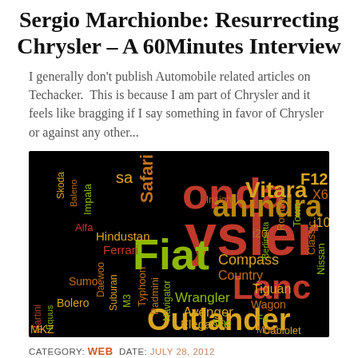Sergio Marchionbe: Resurrecting Chrysler – A 60Minutes Interview
I generally don't publish Automobile related articles on Techacker.  This is because I am part of Chrysler and it feels like bragging if I say something in favor of Chrysler or against any other...
[Figure (illustration): Word cloud on black background featuring automobile brand names including Fiat, Chrysler, Outlander, Mitsubishi, Lancia, Ferrari, Hindustan, Wrangler, Avenger, Elegance, Compass, Country, Tiguan, Vitara, Nissan, Skoda, Impala, and many others in various colors (red, yellow, green, orange) and sizes.]
CATEGORY: WEB  DATE: JULY 28, 2012